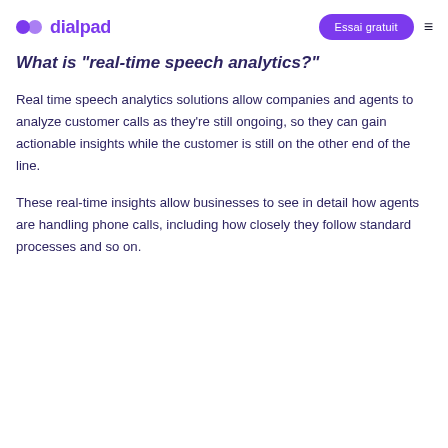dialpad | Essai gratuit
What is "real-time speech analytics?"
Real time speech analytics solutions allow companies and agents to analyze customer calls as they're still ongoing, so they can gain actionable insights while the customer is still on the other end of the line.
These real-time insights allow businesses to see in detail how agents are handling phone calls, including how closely they follow standard processes and so on.